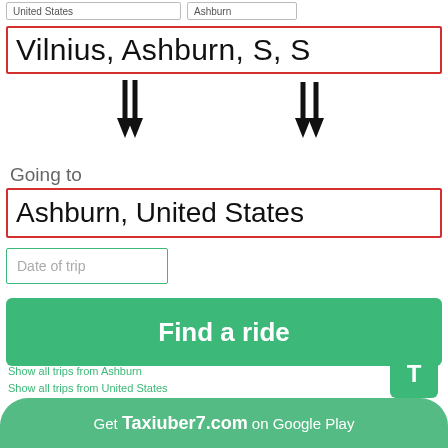Vilnius, Ashburn,  S, S
[Figure (infographic): Two downward double arrows indicating direction]
Going to
Ashburn, United States
Date of trip
Find a ride
T
Show all trips from Ashburn
Show all trips from United States
Get Taxiuber7.com on Google Play